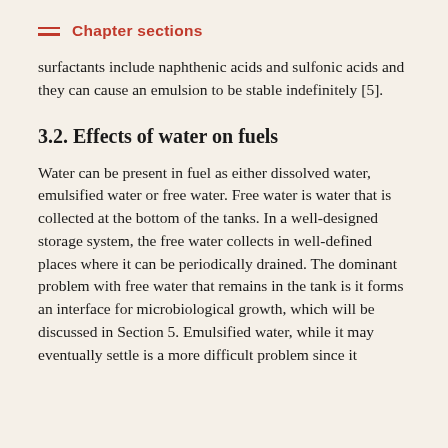Chapter sections
surfactants include naphthenic acids and sulfonic acids and they can cause an emulsion to be stable indefinitely [5].
3.2. Effects of water on fuels
Water can be present in fuel as either dissolved water, emulsified water or free water. Free water is water that is collected at the bottom of the tanks. In a well-designed storage system, the free water collects in well-defined places where it can be periodically drained. The dominant problem with free water that remains in the tank is it forms an interface for microbiological growth, which will be discussed in Section 5. Emulsified water, while it may eventually settle is a more difficult problem since it